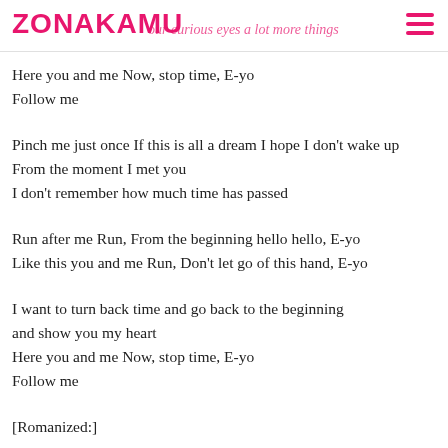ZONAKAMU — your curious eyes a lot more things
Here you and me Now, stop time, E-yo
Follow me
Pinch me just once If this is all a dream I hope I don't wake up
From the moment I met you
I don't remember how much time has passed
Run after me Run, From the beginning hello hello, E-yo
Like this you and me Run, Don't let go of this hand, E-yo
I want to turn back time and go back to the beginning
and show you my heart
Here you and me Now, stop time, E-yo
Follow me
[Romanized:]